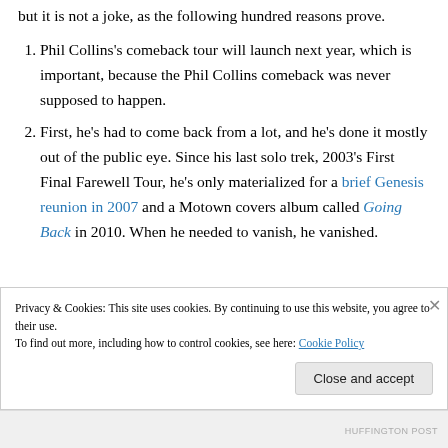but it is not a joke, as the following hundred reasons prove.
Phil Collins's comeback tour will launch next year, which is important, because the Phil Collins comeback was never supposed to happen.
First, he's had to come back from a lot, and he's done it mostly out of the public eye. Since his last solo trek, 2003's First Final Farewell Tour, he's only materialized for a brief Genesis reunion in 2007 and a Motown covers album called Going Back in 2010. When he needed to vanish, he vanished.
Privacy & Cookies: This site uses cookies. By continuing to use this website, you agree to their use. To find out more, including how to control cookies, see here: Cookie Policy
HUFFINGTON POST